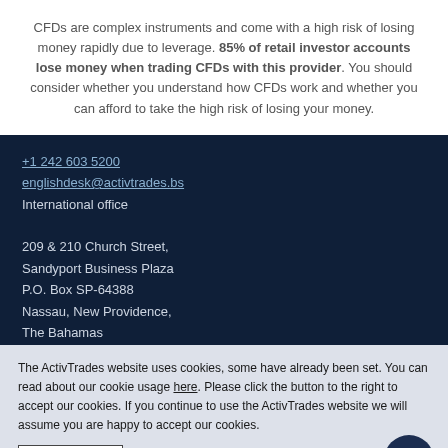CFDs are complex instruments and come with a high risk of losing money rapidly due to leverage. 85% of retail investor accounts lose money when trading CFDs with this provider. You should consider whether you understand how CFDs work and whether you can afford to take the high risk of losing your money.
+1 242 603 5200
englishdesk@activtrades.bs
International office

209 & 210 Church Street,
Sandyport Business Plaza
P.O. Box SP-64388
Nassau, New Providence,
The Bahamas
> Headquarters (UK)

1 Thomas More Square
London E1W 1YN
The ActivTrades website uses cookies, some have already been set. You can read about our cookie usage here. Please click the button to the right to accept our cookies. If you continue to use the ActivTrades website we will assume you are happy to accept our cookies.
I accept